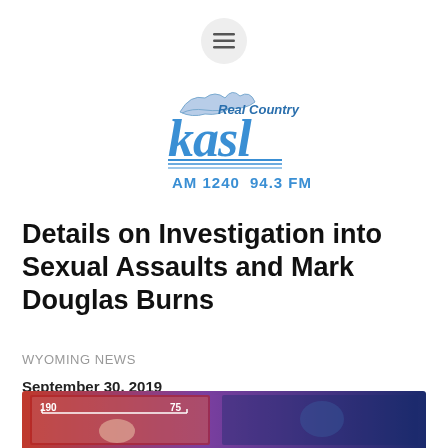[Figure (logo): KASL Real Country AM 1240 94.3 FM radio station logo]
Details on Investigation into Sexual Assaults and Mark Douglas Burns
WYOMING NEWS
September 30, 2019
[Figure (photo): Partial image at bottom showing what appears to be a news mugshot or booking photo with measurements 190 and 75 visible]